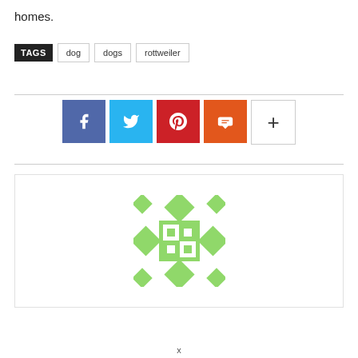homes.
TAGS  dog  dogs  rottweiler
[Figure (illustration): Green avatar/placeholder graphic with diamond and square pattern on white background]
x